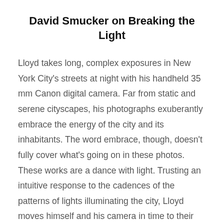David Smucker on Breaking the Light
Lloyd takes long, complex exposures in New York City’s streets at night with his handheld 35 mm Canon digital camera. Far from static and serene cityscapes, his photographs exuberantly embrace the energy of the city and its inhabitants. The word embrace, though, doesn’t fully cover what’s going on in these photos. These works are a dance with light. Trusting an intuitive response to the cadences of the patterns of lights illuminating the city, Lloyd moves himself and his camera in time to their unseen rhythms. Each exposure done this way is unpredictable, made in a kind of wild and blind trance. Lloyd must surrender to the power of light as it tears though the darkness. In his dance he follows the light, enabling it to reveal its secrets to him.